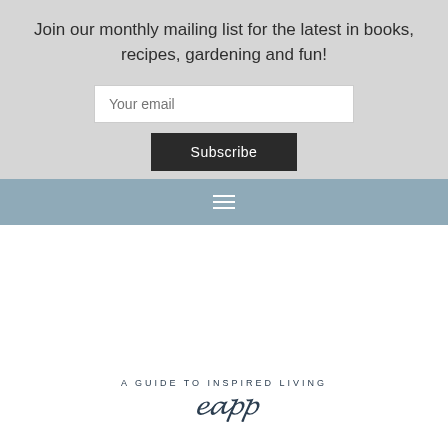Join our monthly mailing list for the latest in books, recipes, gardening and fun!
Your email
Subscribe
[Figure (other): Hamburger menu icon (three horizontal white lines) on a steel blue navigation bar]
A GUIDE TO INSPIRED LIVING
[Figure (other): Cursive/script logo text partially visible at bottom of page]